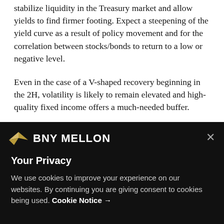stabilize liquidity in the Treasury market and allow yields to find firmer footing. Expect a steepening of the yield curve as a result of policy movement and for the correlation between stocks/bonds to return to a low or negative level.
Even in the case of a V-shaped recovery beginning in the 2H, volatility is likely to remain elevated and high-quality fixed income offers a much-needed buffer.
There is concern over the liquidity and resilience of high yield and leveraged loans and we view them as
[Figure (screenshot): BNY Mellon cookie consent overlay banner with logo, 'Your Privacy' heading, and cookie notice text]